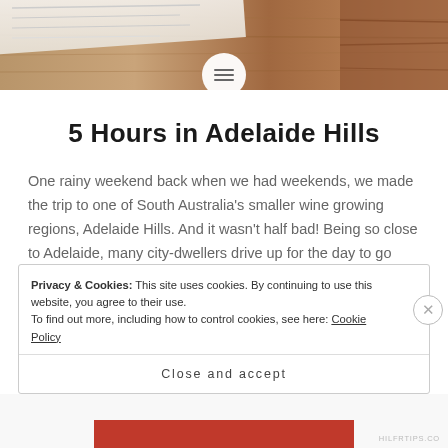[Figure (photo): Header photo of a wooden surface with papers/menu in background, warm brown tones]
5 Hours in Adelaide Hills
One rainy weekend back when we had weekends, we made the trip to one of South Australia's smaller wine growing regions, Adelaide Hills. And it wasn't half bad! Being so close to Adelaide, many city-dwellers drive up for the day to go tasting so we had to at least see what all the hype was...
Privacy & Cookies: This site uses cookies. By continuing to use this website, you agree to their use. To find out more, including how to control cookies, see here: Cookie Policy
Close and accept